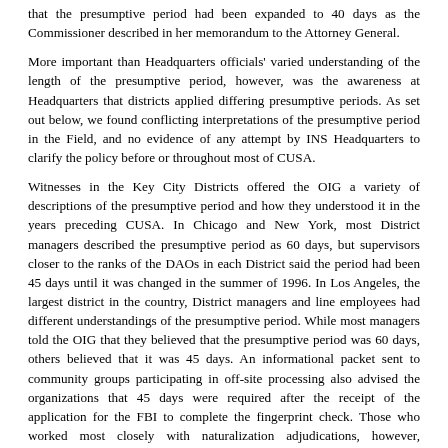that the presumptive period had been expanded to 40 days as the Commissioner described in her memorandum to the Attorney General.
More important than Headquarters officials' varied understanding of the length of the presumptive period, however, was the awareness at Headquarters that districts applied differing presumptive periods. As set out below, we found conflicting interpretations of the presumptive period in the Field, and no evidence of any attempt by INS Headquarters to clarify the policy before or throughout most of CUSA.
Witnesses in the Key City Districts offered the OIG a variety of descriptions of the presumptive period and how they understood it in the years preceding CUSA. In Chicago and New York, most District managers described the presumptive period as 60 days, but supervisors closer to the ranks of the DAOs in each District said the period had been 45 days until it was changed in the summer of 1996. In Los Angeles, the largest district in the country, District managers and line employees had different understandings of the presumptive period. While most managers told the OIG that they believed that the presumptive period was 60 days, others believed that it was 45 days. An informational packet sent to community groups participating in off-site processing also advised the organizations that 45 days were required after the receipt of the application for the FBI to complete the fingerprint check. Those who worked most closely with naturalization adjudications, however, understood the presumptive period to be 40 days, and a processing sheet for naturalization cases that was used during CUSA reflected a 40-day rule.277 In the Miami District, a 45-day presumptive period was used consistently before and during most of CUSA.278